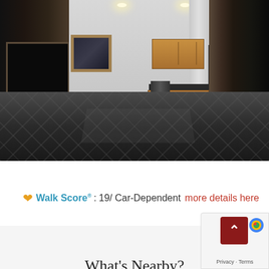[Figure (photo): Interior photo of a basement room with dark stone fireplace wall on left, white/gray walls, central support pillar, wood cabinetry and wet bar area on right side with dark stone accent wall, dark patterned carpet/tile floor with chevron pattern, recessed ceiling lights.]
Walk Score®: 19/ Car-Dependent more details here
What's Nearby?